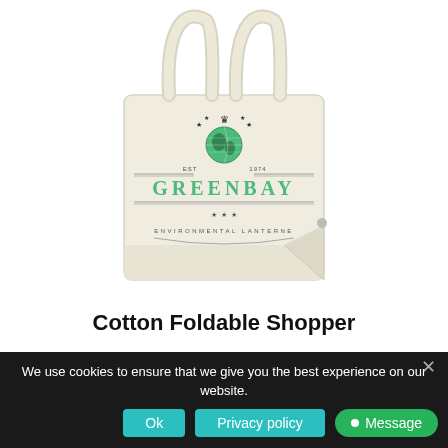[Figure (photo): A cream/natural colored cotton foldable tote shopper bag with two handles. The bag has a Greenbay Environmental Lanterne logo printed in green and dark grey on the front, featuring a globe illustration, decorative lines, crown, stars, and text reading GREENBAY and ENVIRONMENTAL LANTERNE. EST 1974 text appears on either side of the globe.]
Cotton Foldable Shopper
We use cookies to ensure that we give you the best experience on our website.
Ok
Privacy policy
Message